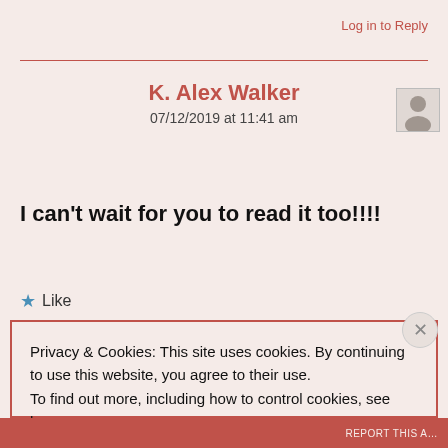Log in to Reply
K. Alex Walker
07/12/2019 at 11:41 am
I can't wait for you to read it too!!!!
★ Like
Privacy & Cookies: This site uses cookies. By continuing to use this website, you agree to their use.
To find out more, including how to control cookies, see here: Cookie Policy
Close and accept